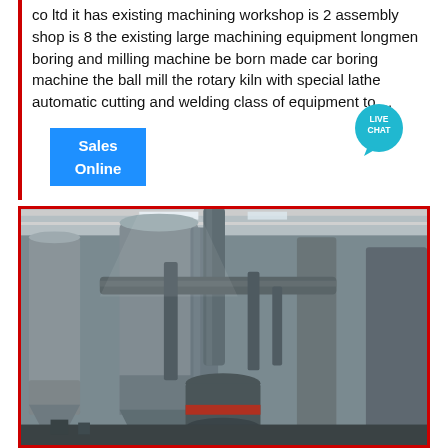co ltd it has existing machining workshop is 2 assembly shop is 8 the existing large machining equipment longmen boring and milling machine be born made car boring machine the ball mill the rotary kiln with special lathe automatic cutting and welding class of equipment to ...
Sales Online
[Figure (photo): Industrial machinery interior showing large metal silos, pipes, and milling/grinding equipment inside a factory building with metal roof structure visible above.]